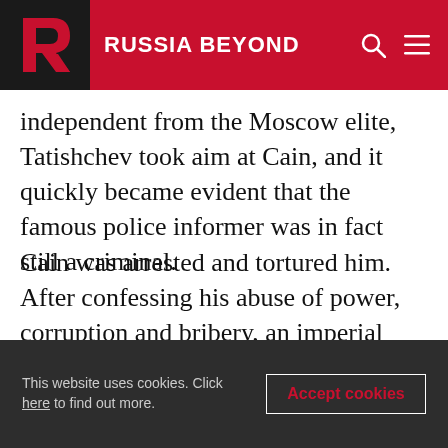RUSSIA BEYOND
independent from the Moscow elite, Tatishchev took aim at Cain, and it quickly became evident that the famous police informer was in fact still a criminal.
Cain was arrested and tortured him. After confessing his abuse of power, corruption and bribery, an imperial court sentenced him to death. At the last moment, however, his sentence was commuted to a life hard labor in Siberia. At this point, all traces of Cain end, and his extraordinary criminal career became the stuff of legend.
This website uses cookies. Click here to find out more. Accept cookies